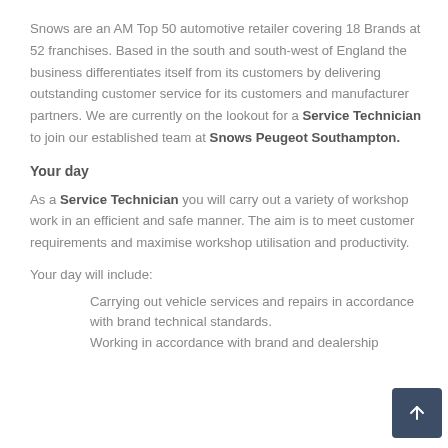Snows are an AM Top 50 automotive retailer covering 18 Brands at 52 franchises. Based in the south and south-west of England the business differentiates itself from its customers by delivering outstanding customer service for its customers and manufacturer partners. We are currently on the lookout for a Service Technician to join our established team at Snows Peugeot Southampton.
Your day
As a Service Technician you will carry out a variety of workshop work in an efficient and safe manner. The aim is to meet customer requirements and maximise workshop utilisation and productivity.
Your day will include:
Carrying out vehicle services and repairs in accordance with brand technical standards.
Working in accordance with brand and dealership